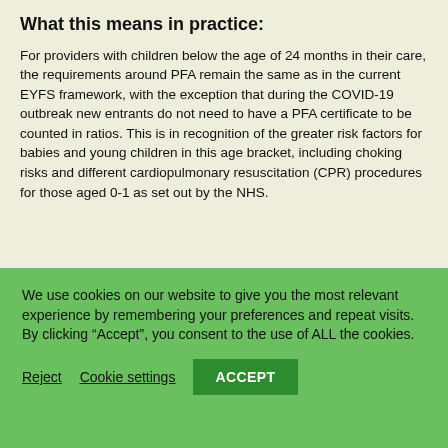What this means in practice:
For providers with children below the age of 24 months in their care, the requirements around PFA remain the same as in the current EYFS framework, with the exception that during the COVID-19 outbreak new entrants do not need to have a PFA certificate to be counted in ratios. This is in recognition of the greater risk factors for babies and young children in this age bracket, including choking risks and different cardiopulmonary resuscitation (CPR) procedures for those aged 0-1 as set out by the NHS.
We use cookies on our website to give you the most relevant experience by remembering your preferences and repeat visits. By clicking “Accept”, you consent to the use of ALL the cookies.